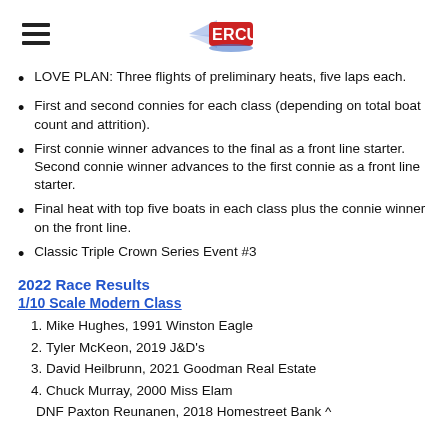[ERCU logo and hamburger menu]
LOVE PLAN: Three flights of preliminary heats, five laps each.
First and second connies for each class (depending on total boat count and attrition).
First connie winner advances to the final as a front line starter. Second connie winner advances to the first connie as a front line starter.
Final heat with top five boats in each class plus the connie winner on the front line.
Classic Triple Crown Series Event #3
2022 Race Results
1/10 Scale Modern Class
1. Mike Hughes, 1991 Winston Eagle
2. Tyler McKeon, 2019 J&D's
3. David Heilbrunn, 2021 Goodman Real Estate
4. Chuck Murray, 2000 Miss Elam
DNF Paxton Reunanen, 2018 Homestreet Bank ^